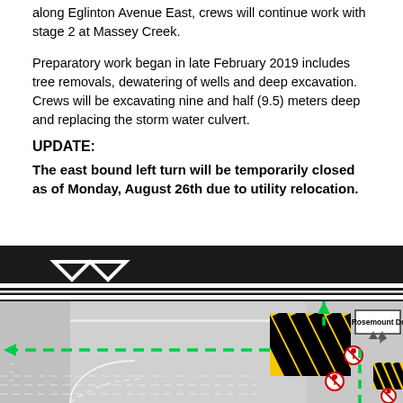along Eglinton Avenue East, crews will continue work with stage 2 at Massey Creek.
Preparatory work began in late February 2019 includes tree removals, dewatering of wells and deep excavation. Crews will be excavating nine and half (9.5) meters deep and replacing the storm water culvert.
UPDATE:
The east bound left turn will be temporarily closed as of Monday, August 26th due to utility relocation.
[Figure (map): Traffic map showing intersection near Rosemount Dr with yellow-black construction barriers blocking eastbound left turn lane. Green dashed arrows indicate allowed traffic movements. Red horizontal bar indicates closure. No-pedestrian signs shown.]